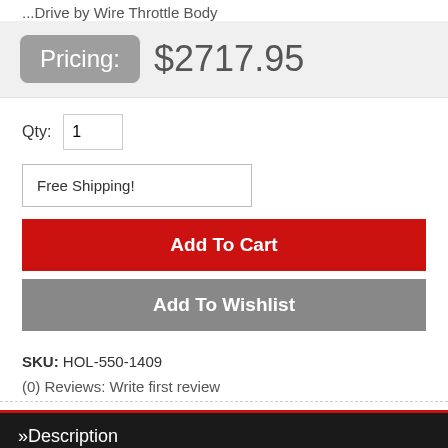...Drive by Wire Throttle Body
Pricing: $2717.95
Qty: 1
Free Shipping!
Add To Cart
Add To Wishlist
SKU: HOL-550-1409
(0) Reviews: Write first review
»Description